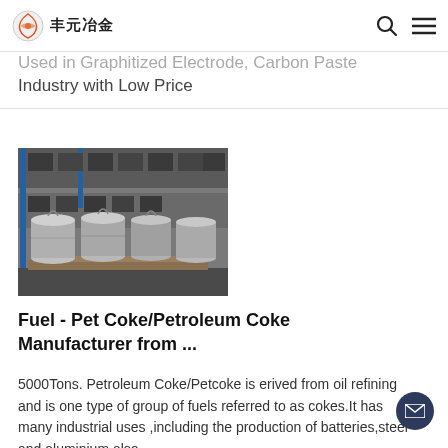丰元冶金
Used in Graphitized Electrode, Carbon Paste Industry with Low Price
[Figure (photo): Photograph of large cylindrical metal containers/tanks in a warehouse or factory setting, stacked on pallets with shelving in the background.]
Fuel - Pet Coke/Petroleum Coke Manufacturer from ...
5000Tons. Petroleum Coke/Petcoke is erived from oil refining and is one type of group of fuels referred to as cokes.It has many industrial uses ,including the production of batteries,steel and aluminium,also used as fuel in cement,fired as a substitute...